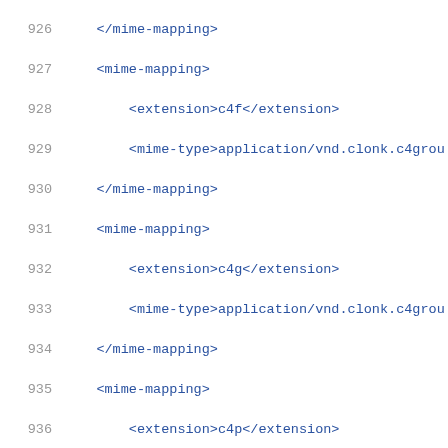926  </mime-mapping>
927      <mime-mapping>
928          <extension>c4f</extension>
929          <mime-type>application/vnd.clonk.c4grou
930      </mime-mapping>
931      <mime-mapping>
932          <extension>c4g</extension>
933          <mime-type>application/vnd.clonk.c4grou
934      </mime-mapping>
935      <mime-mapping>
936          <extension>c4p</extension>
937          <mime-type>application/vnd.clonk.c4grou
938      </mime-mapping>
939      <mime-mapping>
940          <extension>c4u</extension>
941          <mime-type>application/vnd.clonk.c4grou
942      </mime-mapping>
943      <mime-mapping>
944          <extension>cab</extension>
945          <mime-type>application/vnd.ms-cab-compr
946      </mime-mapping>
947      <mime-mapping>